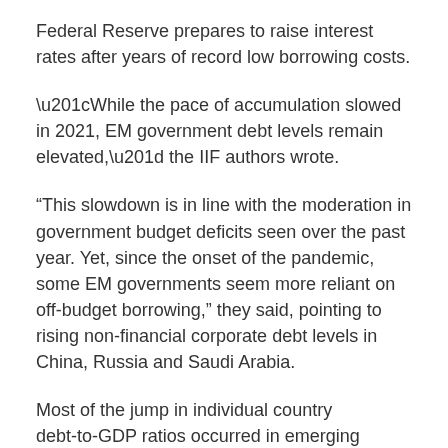Federal Reserve prepares to raise interest rates after years of record low borrowing costs.
“While the pace of accumulation slowed in 2021, EM government debt levels remain elevated,” the IIF authors wrote.
“This slowdown is in line with the moderation in government budget deficits seen over the past year. Yet, since the onset of the pandemic, some EM governments seem more reliant on off-budget borrowing,” they said, pointing to rising non-financial corporate debt levels in China, Russia and Saudi Arabia.
Most of the jump in individual country debt-to-GDP ratios occurred in emerging markets.